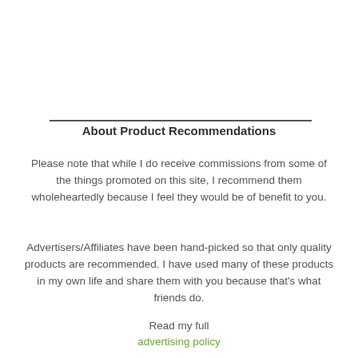About Product Recommendations
Please note that while I do receive commissions from some of the things promoted on this site, I recommend them wholeheartedly because I feel they would be of benefit to you.
Advertisers/Affiliates have been hand-picked so that only quality products are recommended. I have used many of these products in my own life and share them with you because that's what friends do.
Read my full advertising policy